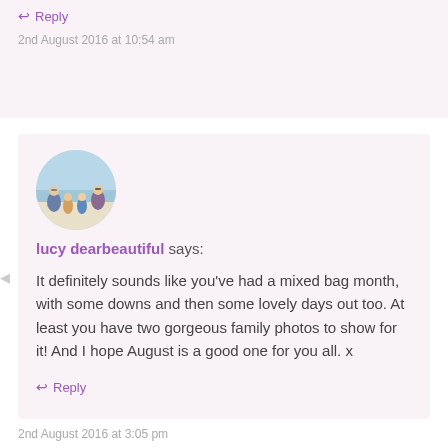↩ Reply
2nd August 2016 at 10:54 am
[Figure (photo): Circular avatar photo of a family group sitting on a beach]
lucy dearbeautiful says:
It definitely sounds like you've had a mixed bag month, with some downs and then some lovely days out too. At least you have two gorgeous family photos to show for it! And I hope August is a good one for you all. x
↩ Reply
2nd August 2016 at 3:05 pm